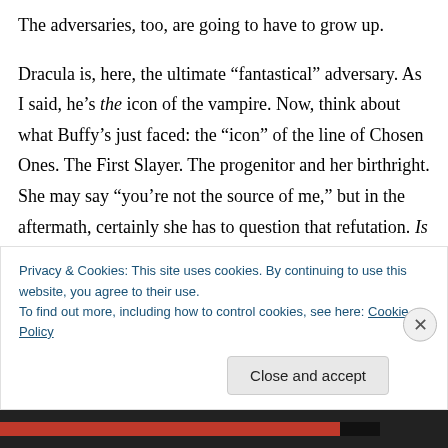The adversaries, too, are going to have to grow up.

Dracula is, here, the ultimate “fantastical” adversary. As I said, he’s the icon of the vampire. Now, think about what Buffy’s just faced: the “icon” of the line of Chosen Ones. The First Slayer. The progenitor and her birthright. She may say “you’re not the source of me,” but in the aftermath, certainly she has to question that refutation. Is she (the First Slayer) the source of
Privacy & Cookies: This site uses cookies. By continuing to use this website, you agree to their use.
To find out more, including how to control cookies, see here: Cookie Policy
Close and accept